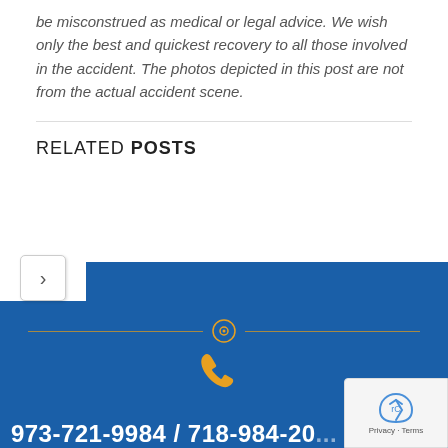be misconstrued as medical or legal advice. We wish only the best and quickest recovery to all those involved in the accident. The photos depicted in this post are not from the actual accident scene.
RELATED POSTS
[Figure (illustration): Blue footer banner with orange phone icon, decorative horizontal divider with circle, phone numbers 973-721-9984 / 718-984-20... and text ONLY DOMESTIC CASE. Includes a reCAPTCHA badge in the bottom right corner.]